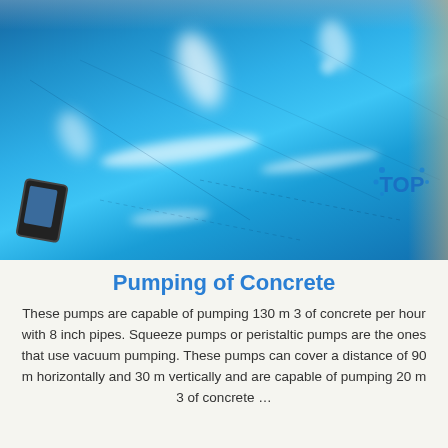[Figure (photo): Photograph of a large shiny blue panel or sheet (possibly a formwork or surface for concrete construction) viewed at an angle on a table. The blue surface has reflections of light. A smartphone is visible in the bottom-left corner. A 'TOP' logo watermark is in the bottom-right area.]
Pumping of Concrete
These pumps are capable of pumping 130 m 3 of concrete per hour with 8 inch pipes. Squeeze pumps or peristaltic pumps are the ones that use vacuum pumping. These pumps can cover a distance of 90 m horizontally and 30 m vertically and are capable of pumping 20 m 3 of concrete …